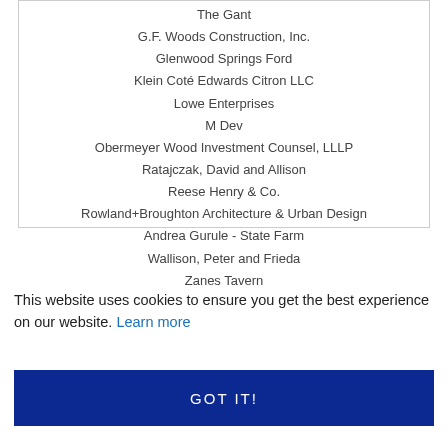The Gant
G.F. Woods Construction, Inc.
Glenwood Springs Ford
Klein Coté Edwards Citron LLC
Lowe Enterprises
M Dev
Obermeyer Wood Investment Counsel, LLLP
Ratajczak, David and Allison
Reese Henry & Co.
Rowland+Broughton Architecture & Urban Design
Andrea Gurule - State Farm
Wallison, Peter and Frieda
Zanes Tavern
This website uses cookies to ensure you get the best experience on our website. Learn more
GOT IT!